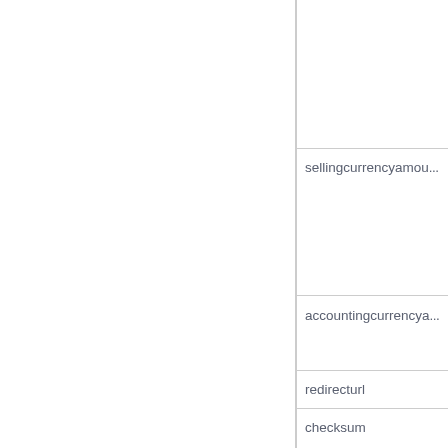|  | sellingcurrencyamou... |
|  | accountingcurrencya... |
|  | redirecturl |
|  | checksum |